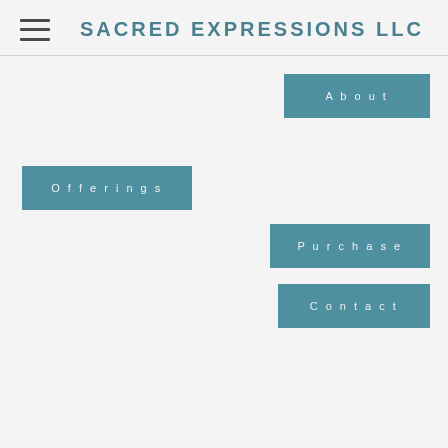SACRED EXPRESSIONS LLC
About
Offerings
Purchase
Contact